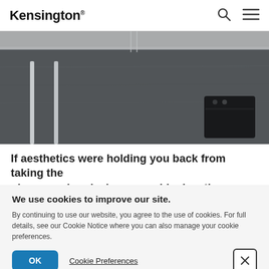Kensington
[Figure (photo): Overhead/aerial view of a dark desk surface with white metal desk legs and a black electronic device (hub or docking station) in the bottom right corner.]
If aesthetics were holding you back from taking the plunge and replacing your old mice, then you no longer
We use cookies to improve our site.
By continuing to use our website, you agree to the use of cookies. For full details, see our Cookie Notice where you can also manage your cookie preferences.
OK
Cookie Preferences